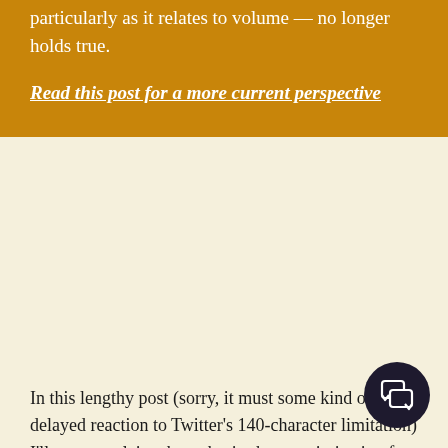particularly as it relates to volume – no longer holds true.
Read this post for a more current perspective
In this lengthy post (sorry, it must some kind of delayed reaction to Twitter's 140-character limitation) I'll try to explain a hypothesis about optimization for the Google Local algorithm (along with the 10-pack, 3-pack and authoritative OneBox) that's been brewing in my mind for the past couple of months. It has really crystallized this week in various discussions I've had with other Local SEOs, including Mike Blumenthal, EarlPearl and David Klein, and after reading a blog post by Stephen Espinosa that's no longer available, unfortunately.